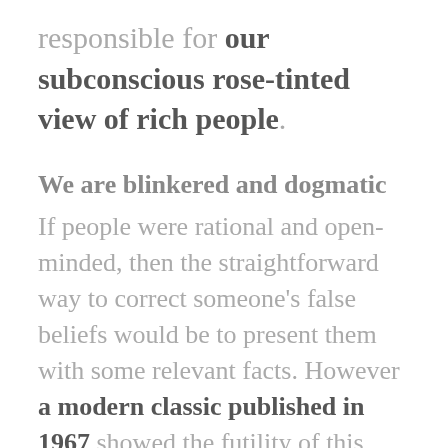responsible for our subconscious rose-tinted view of rich people.
We are blinkered and dogmatic
If people were rational and open-minded, then the straightforward way to correct someone's false beliefs would be to present them with some relevant facts. However a modern classic published in 1967 showed the futility of this approach...This seems to occur in